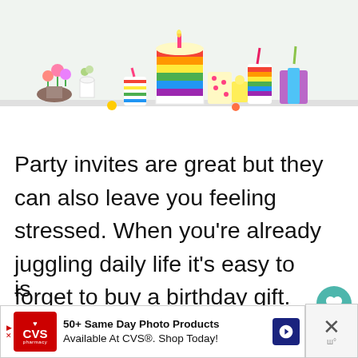[Figure (photo): Birthday party table setup with colorful rainbow cake, striped cups, polka dot cups, flowers, and festive decorations on a white table near a bright window.]
Party invites are great but they can also leave you feeling stressed. When you're already juggling daily life it's easy to forget to buy a birthday gift. Then you need to make a mad dash for the store to buy a gift with your child in tow which is
[Figure (screenshot): CVS Pharmacy advertisement banner: '50+ Same Day Photo Products Available At CVS®. Shop Today!' with CVS logo, blue arrow icon, and close button with X mark.]